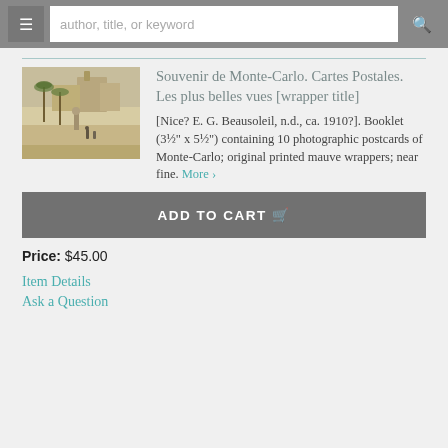author, title, or keyword
[Figure (photo): Sepia-toned vintage postcard photograph of Monte-Carlo showing a plaza with palm trees, statues, and buildings in the background.]
Souvenir de Monte-Carlo. Cartes Postales. Les plus belles vues [wrapper title]
[Nice? E. G. Beausoleil, n.d., ca. 1910?]. Booklet (3½" x 5½") containing 10 photographic postcards of Monte-Carlo; original printed mauve wrappers; near fine. More ›
ADD TO CART 🛒
Price: $45.00
Item Details
Ask a Question